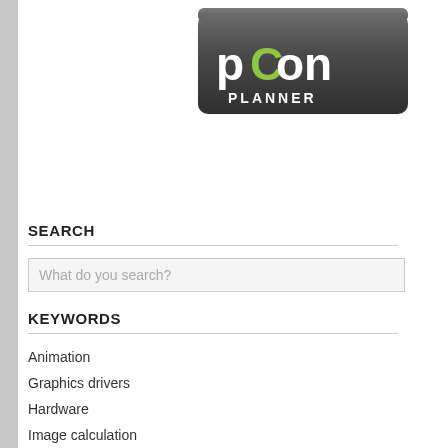[Figure (logo): pCon Planner logo — dark rounded rectangle background with brushed metal texture, white text 'pCon' with green letter 'C', white text 'PLANNER' below]
SEARCH
What do you search?
KEYWORDS
Animation
Graphics drivers
Hardware
Image calculation
Miscellaneous
QUESTIONS & A
Please select a k
Seite   1 2 3 4
What should I c
16.06.2017 | Pri
When printing vi process is used t elements remain
more...